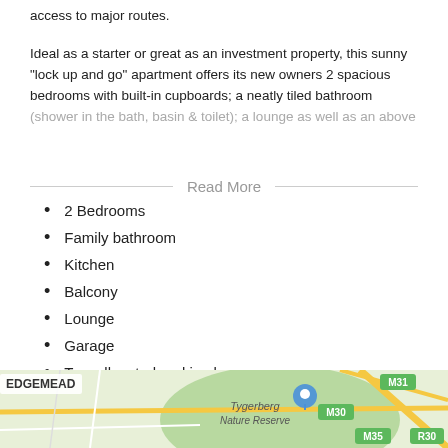access to major routes.
Ideal as a starter or great as an investment property, this sunny "lock up and go" apartment offers its new owners 2 spacious bedrooms with built-in cupboards; a neatly tiled bathroom (shower in the bath, basin & toilet); a lounge as well as an above
Read More
2 Bedrooms
Family bathroom
Kitchen
Balcony
Lounge
Garage
Two allocated parking bays
[Figure (map): Street map showing Edgemead area with Tygerberg Nature Reserve, roads M30, M31, M35, R30 visible, and a location pin marker]